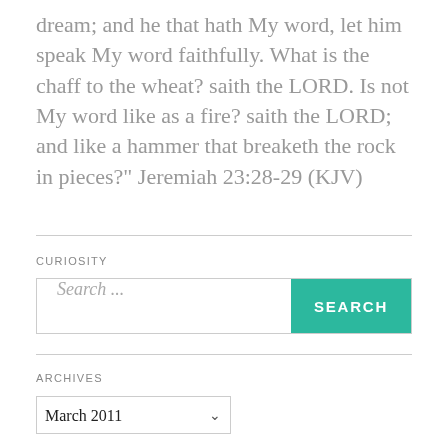dream; and he that hath My word, let him speak My word faithfully. What is the chaff to the wheat? saith the LORD. Is not My word like as a fire? saith the LORD; and like a hammer that breaketh the rock in pieces?" Jeremiah 23:28-29 (KJV)
CURIOSITY
Search ...
ARCHIVES
March 2011